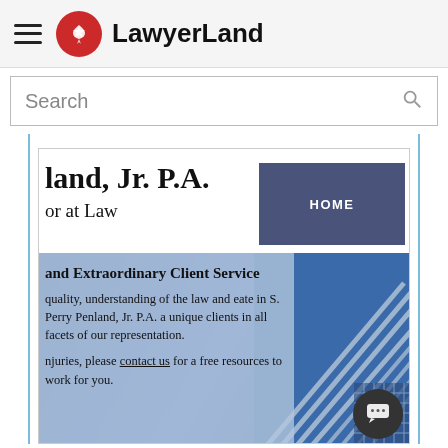LawyerLand
Search
land, Jr. P.A.
or at Law
HOME
and Extraordinary Client Service
quality, understanding of the law and eate in S. Perry Penland, Jr. P.A. a unique clients in all facets of our representation.
njuries, please contact us for a free resources to work for you.